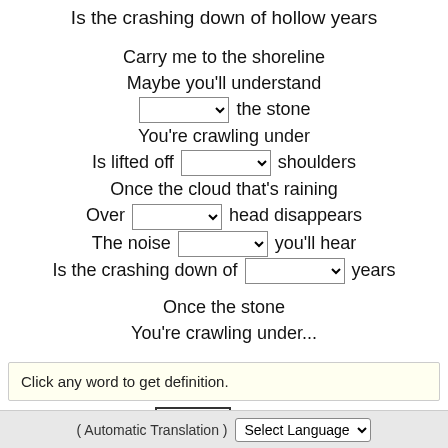Is the crashing down of hollow years
Carry me to the shoreline
Maybe you'll understand
[dropdown] the stone
You're crawling under
Is lifted off [dropdown] shoulders
Once the cloud that's raining
Over [dropdown] head disappears
The noise [dropdown] you'll hear
Is the crashing down of [dropdown] years
Once the stone
You're crawling under...
Click any word to get definition.
Score
Reset
Score
( Automatic Translation )
Select Language